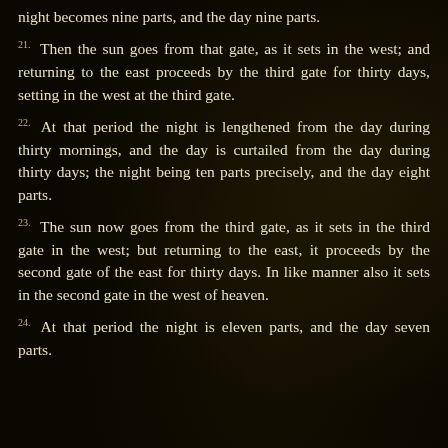night becomes nine parts, and the day nine parts.
21. Then the sun goes from that gate, as it sets in the west; and returning to the east proceeds by the third gate for thirty days, setting in the west at the third gate.
22. At that period the night is lengthened from the day during thirty mornings, and the day is curtailed from the day during thirty days; the night being ten parts precisely, and the day eight parts.
23. The sun now goes from the third gate, as it sets in the third gate in the west; but returning to the east, it proceeds by the second gate of the east for thirty days. In like manner also it sets in the second gate in the west of heaven.
24. At that period the night is eleven parts, and the day seven parts.